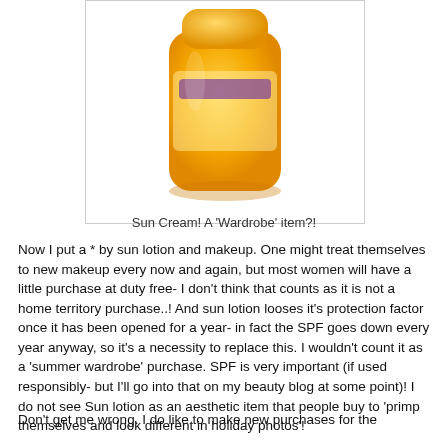[Figure (photo): A yellow/orange bottle of sun cream lotion, partially cropped at top, shown against a white background inside a bordered box.]
Sun Cream! A 'Wardrobe' item?!
Now I put a * by sun lotion and makeup.  One might treat themselves to new makeup every now and again, but most women will have a little purchase at duty free- I don't think that counts as it is not a home territory purchase..!  And sun lotion looses it's protection factor once it has been opened for a year- in fact the SPF goes down every year anyway, so it's a necessity to replace this.  I wouldn't count it as a 'summer wardrobe' purchase.  SPF is very important (if used responsibly- but I'll go into that on my beauty blog at some point)!  I do not see Sun lotion as an aesthetic item that people buy to 'primp themselves and look different in holiday photos'!
Don't get me wrong.  I do like to make new purchases for the